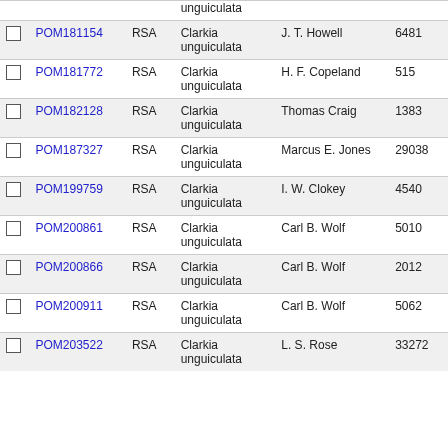|  | Accession | Institution | Species | Collector | Number |
| --- | --- | --- | --- | --- | --- |
|  | POM181154 | RSA | Clarkia unguiculata | J. T. Howell | 6481 |
|  | POM181772 | RSA | Clarkia unguiculata | H. F. Copeland | 515 |
|  | POM182128 | RSA | Clarkia unguiculata | Thomas Craig | 1383 |
|  | POM187327 | RSA | Clarkia unguiculata | Marcus E. Jones | 29038 |
|  | POM199759 | RSA | Clarkia unguiculata | I. W. Clokey | 4540 |
|  | POM200861 | RSA | Clarkia unguiculata | Carl B. Wolf | 5010 |
|  | POM200866 | RSA | Clarkia unguiculata | Carl B. Wolf | 2012 |
|  | POM200911 | RSA | Clarkia unguiculata | Carl B. Wolf | 5062 |
|  | POM203522 | RSA | Clarkia unguiculata | L. S. Rose | 33272 |